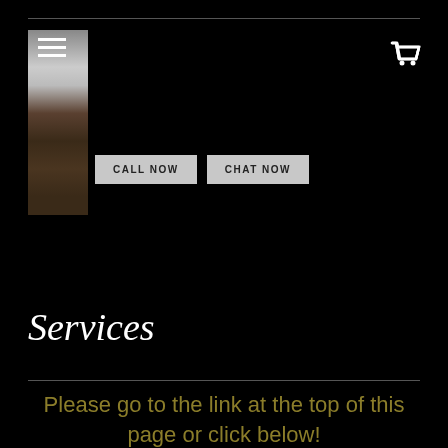[Figure (logo): Partial logo image showing a grey/white and wood-grain texture panel with menu hamburger icon at top]
[Figure (illustration): Shopping cart icon in white at top right]
CALL NOW   CHAT NOW
Services
Please go to the link at the top of this page or click below!